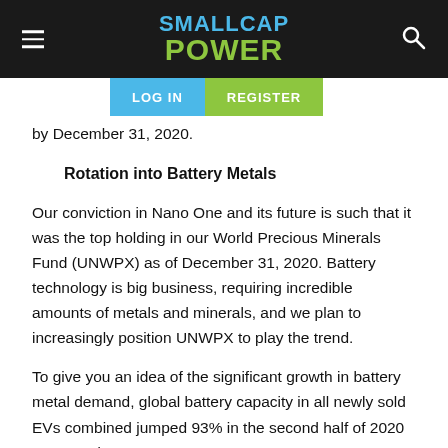SMALLCAP POWER
by December 31, 2020.
Rotation into Battery Metals
Our conviction in Nano One and its future is such that it was the top holding in our World Precious Minerals Fund (UNWPX) as of December 31, 2020. Battery technology is big business, requiring incredible amounts of metals and minerals, and we plan to increasingly position UNWPX to play the trend.
To give you an idea of the significant growth in battery metal demand, global battery capacity in all newly sold EVs combined jumped 93% in the second half of 2020 compared